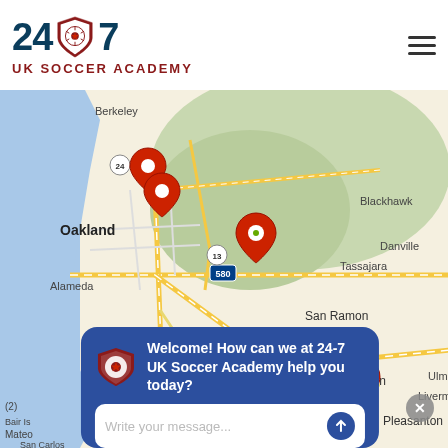[Figure (logo): 24/7 UK Soccer Academy logo with shield emblem]
[Figure (map): Google Maps view of Oakland/Bay Area California with red location pins near Oakland, hills, and Hayward areas. Shows cities: Berkeley, Oakland, Alameda, San Leandro, Danville, Blackhawk, Tassajara, San Ramon, Dublin, Hayward, Pleasanton, Livermore.]
Welcome! How can we at 24-7 UK Soccer Academy help you today?
Write your message...